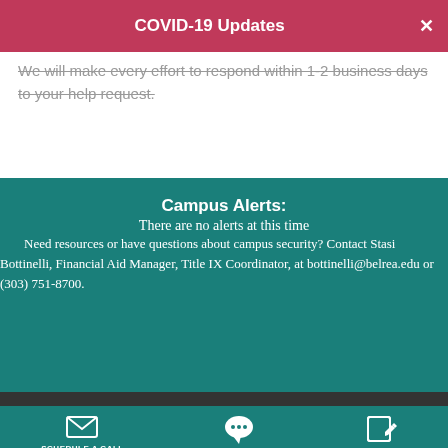COVID-19 Updates
We will make every effort to respond within 1-2 business days to your help request.
Campus Alerts:
There are no alerts at this time
Need resources or have questions about campus security? Contact Stasi Bottinelli, Financial Aid Manager, Title IX Coordinator, at bottinelli@belrea.edu or (303) 751-8700.
SCHEDULE A CALL   REQUEST INFO   APPLY NOW